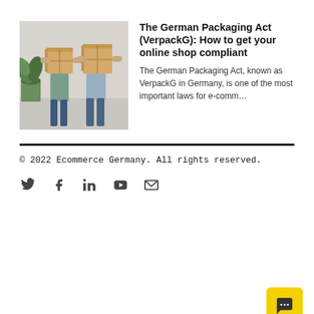[Figure (photo): Two people carrying cardboard boxes covering their faces, with a plant in the background]
The German Packaging Act (VerpackG): How to get your online shop compliant
The German Packaging Act, known as VerpackG in Germany, is one of the most important laws for e-comm…
© 2022 Ecommerce Germany. All rights reserved.